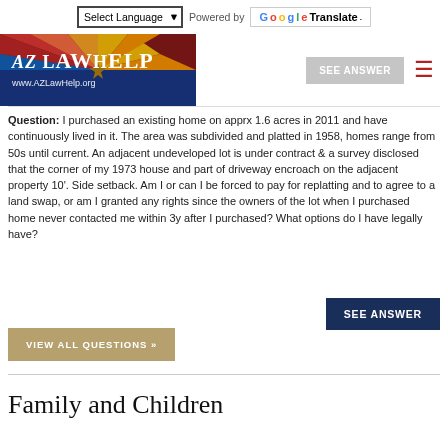Select Language | Powered by Google Translate
[Figure (logo): AZ Law Help logo with Arizona flag background and text 'AZLawHelp www.AZLawHelp.org']
Question: I purchased an existing home on apprx 1.6 acres in 2011 and have continuously lived in it. The area was subdivided and platted in 1958, homes range from 50s until current. An adjacent undeveloped lot is under contract & a survey disclosed that the corner of my 1973 house and part of driveway encroach on the adjacent property 10'. Side setback. Am I or can I be forced to pay for replatting and to agree to a land swap, or am I granted any rights since the owners of the lot when I purchased home never contacted me within 3y after I purchased? What options do I have legally have?
Family and Children